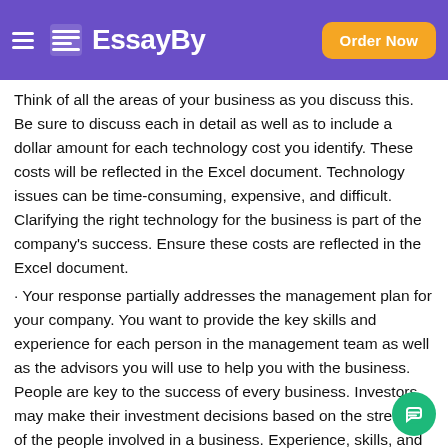EssayBy — Order Now
Think of all the areas of your business as you discuss this. Be sure to discuss each in detail as well as to include a dollar amount for each technology cost you identify. These costs will be reflected in the Excel document. Technology issues can be time-consuming, expensive, and difficult. Clarifying the right technology for the business is part of the company's success. Ensure these costs are reflected in the Excel document.
· Your response partially addresses the management plan for your company. You want to provide the key skills and experience for each person in the management team as well as the advisors you will use to help you with the business. People are key to the success of every business. Investors may make their investment decisions based on the strengths of the people involved in a business. Experience, skills, and personalities of the people in an organization influence the success of that organization. Be sure to use the guidelines provided and reflect the cost in the Excel document. The f…